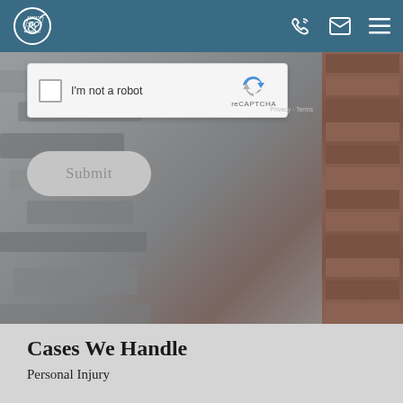[Figure (logo): Law firm logo - circular emblem with stylized letter C and ampersand, white on teal background, in header navigation bar]
[Figure (screenshot): Website screenshot showing a stone/brick wall background with a reCAPTCHA widget (I'm not a robot checkbox) and a Submit button overlaid on the hero image]
Cases We Handle
Personal Injury
Car Accidents